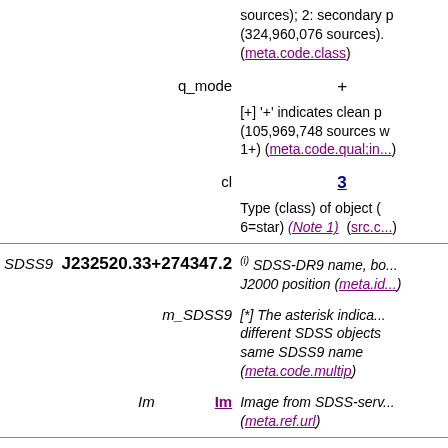| Name | Value | Description |
| --- | --- | --- |
| q_mode | + | [+] '+' indicates clean p... (105,969,748 sources v... 1+) (meta.code.qual;in... |
| cl | 3 | Type (class) of object (... 6=star) (Note 1) (src.c... |
| SDSS9 | J232520.33+274347.2 | (i) SDSS-DR9 name, bo... J2000 position (meta.id... |
| m_SDSS9 |  | [*] The asterisk indica... different SDSS objects... same SDSS9 name (meta.code.multip) |
| Im | Im | Image from SDSS-serv... (meta.ref.url) |
| SDSS-ID | 4822-301-2-0459-0929 | (i) [0-9 -] SDSS object... (Note 2) (meta.id) |
| objID | 1237666184032879521 | (i) SDSS unique object... (2) (links to SDSS-DR... (Note) (meta.id;meta... |